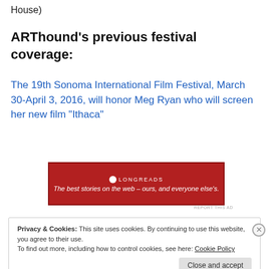House)
ARThound’s previous festival coverage:
The 19th Sonoma International Film Festival, March 30-April 3, 2016, will honor Meg Ryan who will screen her new film “Ithaca”
[Figure (other): Longreads advertisement banner: red background with Longreads logo and text 'The best stories on the web – ours, and everyone else’s.']
REPORT THIS AD
Privacy & Cookies: This site uses cookies. By continuing to use this website, you agree to their use.
To find out more, including how to control cookies, see here: Cookie Policy
Close and accept